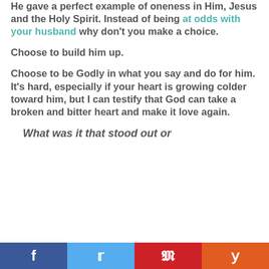He gave a perfect example of oneness in Him, Jesus and the Holy Spirit. Instead of being at odds with your husband why don't you make a choice.
Choose to build him up.
Choose to be Godly in what you say and do for him. It's hard, especially if your heart is growing colder toward him, but I can testify that God can take a broken and bitter heart and make it love again.
What was it that stood out or
f  t  p  y